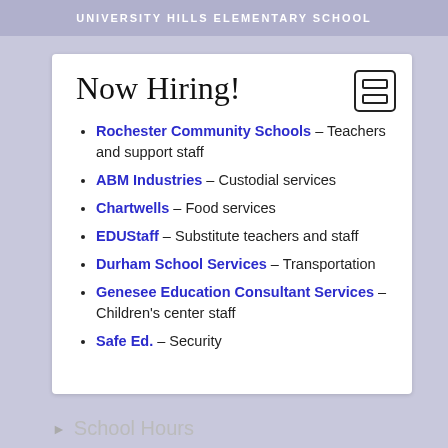UNIVERSITY HILLS ELEMENTARY SCHOOL
Now Hiring!
Rochester Community Schools – Teachers and support staff
ABM Industries – Custodial services
Chartwells – Food services
EDUStaff – Substitute teachers and staff
Durham School Services – Transportation
Genesee Education Consultant Services – Children's center staff
Safe Ed. – Security
School Hours